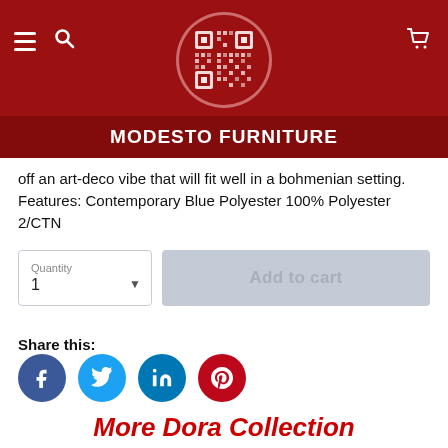[Figure (logo): Modesto Furniture logo: circular logo with QR-code style pattern on dark red background, with hamburger menu and search icons on left, cart icon on right]
MODESTO FURNITURE
off an art-deco vibe that will fit well in a bohmenian setting. Features: Contemporary Blue Polyester 100% Polyester 2/CTN
Quantity
1
Add to cart
Share this:
[Figure (infographic): Social sharing icons: Facebook (blue), Twitter (light blue), LinkedIn (blue), Pinterest (red)]
More Dora Collection